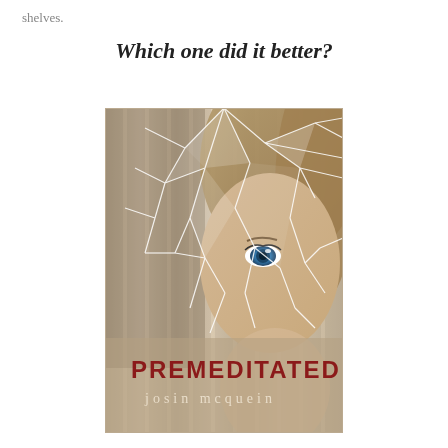shelves.
Which one did it better?
[Figure (illustration): Book cover of 'Premeditated' by Josin McQuein. Shows a young woman with blue eyes and blonde hair peeking through a shattered glass overlay. The title 'PREMEDITATED' appears in bold red distressed font and the author name 'josin mcquein' in smaller text below, both in the lower portion of the cover. Background has vertical wood-like stripes in beige/tan tones with dramatic cracked glass effect.]